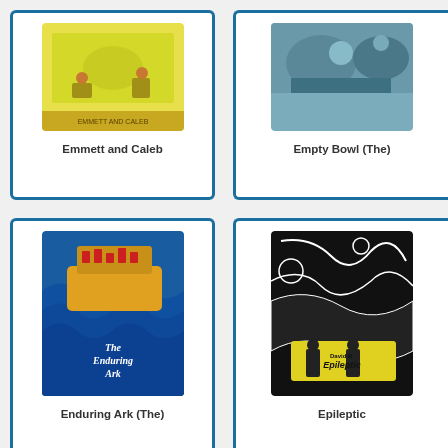[Figure (illustration): Book cover for 'Emmett and Caleb' with yellow/green background and illustrated characters]
Emmett and Caleb
[Figure (illustration): Book cover for 'Empty Bowl (The)' with teal/blue-green illustrated background]
Empty Bowl (The)
[Figure (illustration): Book cover for 'Enduring Ark (The)' showing a blue wavy water scene with ark and red birds/figures, white text 'The Enduring Ark']
Enduring Ark (The)
[Figure (illustration): Book cover for 'Epileptic' with black and white surreal illustration and yellow element showing two figures, text 'David B. Epileptic']
Epileptic
[Figure (illustration): Partial book cover at bottom left, brownish tones]
[Figure (illustration): Partial book cover at bottom right, red tones with text visible]